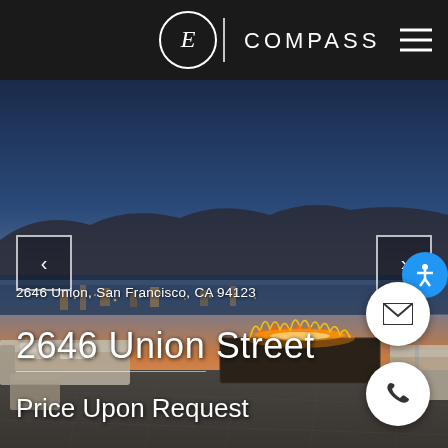Compass
[Figure (photo): Rooftop terrace at dusk with outdoor fire pit and lounge seating, panoramic view of San Francisco Bay, Marin Headlands and Golden Gate area in background, city lights below, gradient sky from blue to orange]
2646 Union, San Francisco, CA 94123
2646 Union Street
Price Upon Request